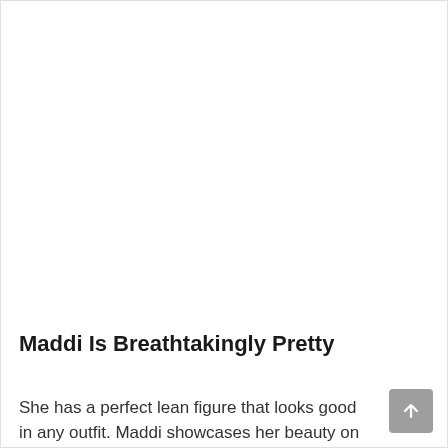[Figure (photo): Large image area (white/blank) occupying the top portion of the page, representing a photo of Maddi]
Maddi Is Breathtakingly Pretty
She has a perfect lean figure that looks good in any outfit. Maddi showcases her beauty on her